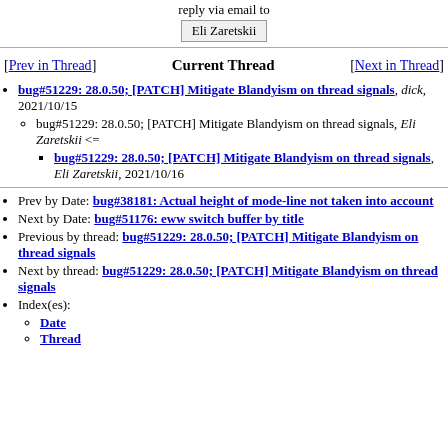reply via email to
Eli Zaretskii
[Prev in Thread]   Current Thread   [Next in Thread]
bug#51229: 28.0.50; [PATCH] Mitigate Blandyism on thread signals, dick, 2021/10/15
bug#51229: 28.0.50; [PATCH] Mitigate Blandyism on thread signals, Eli Zaretskii <=
bug#51229: 28.0.50; [PATCH] Mitigate Blandyism on thread signals, Eli Zaretskii, 2021/10/16
Prev by Date: bug#38181: Actual height of mode-line not taken into account
Next by Date: bug#51176: eww switch buffer by title
Previous by thread: bug#51229: 28.0.50; [PATCH] Mitigate Blandyism on thread signals
Next by thread: bug#51229: 28.0.50; [PATCH] Mitigate Blandyism on thread signals
Index(es):
Date
Thread